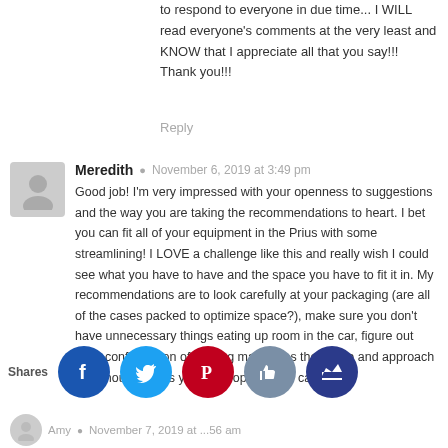to respond to everyone in due time... I WILL read everyone's comments at the very least and KNOW that I appreciate all that you say!!!
Thank you!!!
Reply
Meredith  ●  November 6, 2019 at 3:49 pm
Good job! I'm very impressed with your openness to suggestions and the way you are taking the recommendations to heart. I bet you can fit all of your equipment in the Prius with some streamlining! I LOVE a challenge like this and really wish I could see what you have to have and the space you have to fit it in. My recommendations are to look carefully at your packaging (are all of the cases packed to optimize space?), make sure you don't have unnecessary things eating up room in the car, figure out what configuration of seating maximizes the space and approach it as though this is your only option. You can do it!
Shares
Amy  ●  November 7, 2019 at ...56 am